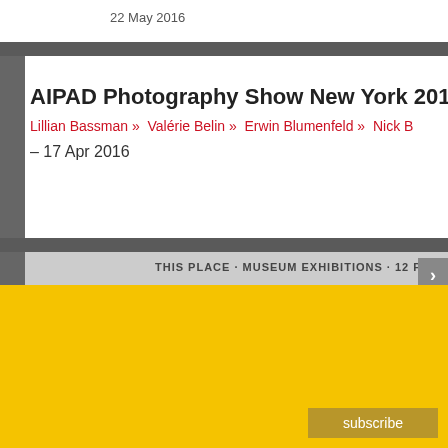22 May 2016
AIPAD Photography Show New York 2016
Lillian Bassman »  Valérie Belin »  Erwin Blumenfeld »  Nick B
– 17 Apr 2016
THIS PLACE · MUSEUM EXHIBITIONS · 12 PUBLICA
eNews
sign up for daily international eNews
or opt into alternative lists
German daily eNews
German weekly eNews
International weekly eNews
email
subscribe